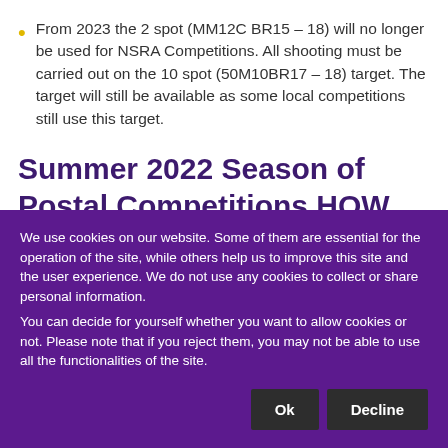From 2023 the 2 spot (MM12C BR15 – 18) will no longer be used for NSRA Competitions. All shooting must be carried out on the 10 spot (50M10BR17 – 18) target. The target will still be available as some local competitions still use this target.
Summer 2022 Season of
Postal Competitions HOW
We use cookies on our website. Some of them are essential for the operation of the site, while others help us to improve this site and the user experience. We do not use any cookies to collect or share personal information.
You can decide for yourself whether you want to allow cookies or not. Please note that if you reject them, you may not be able to use all the functionalities of the site.